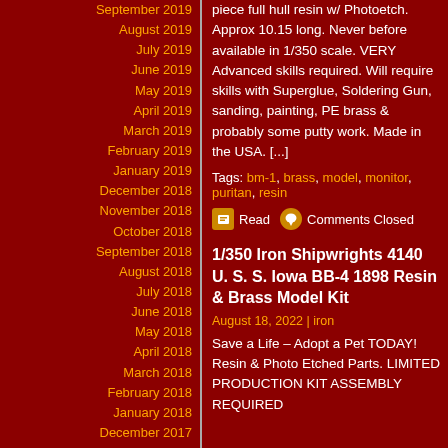September 2019
August 2019
July 2019
June 2019
May 2019
April 2019
March 2019
February 2019
January 2019
December 2018
November 2018
October 2018
September 2018
August 2018
July 2018
June 2018
May 2018
April 2018
March 2018
February 2018
January 2018
December 2017
November 2017
October 2017
piece full hull resin w/ Photoetch. Approx 10.15 long. Never before available in 1/350 scale. VERY Advanced skills required. Will require skills with Superglue, Soldering Gun, sanding, painting, PE brass & probably some putty work. Made in the USA. [...]
Tags: bm-1, brass, model, monitor, puritan, resin
Read   Comments Closed
1/350 Iron Shipwrights 4140 U. S. S. Iowa BB-4 1898 Resin & Brass Model Kit
August 18, 2022 | iron
Save a Life – Adopt a Pet TODAY! Resin & Photo Etched Parts. LIMITED PRODUCTION KIT ASSEMBLY REQUIRED